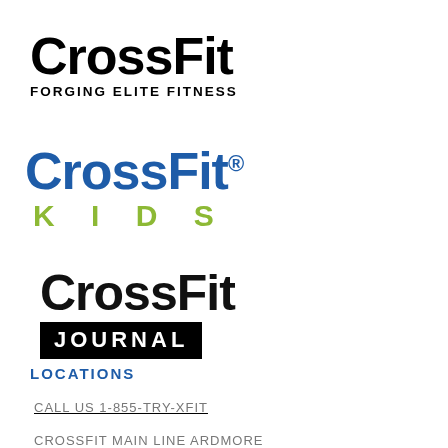[Figure (logo): CrossFit logo with tagline FORGING ELITE FITNESS in bold black text]
[Figure (logo): CrossFit Kids logo with CrossFit in blue bold text and KIDS in green spaced bold text]
[Figure (logo): CrossFit Journal logo with CrossFit in bold black and JOURNAL on a black bar in white text]
LOCATIONS
CALL US 1-855-TRY-XFIT
CROSSFIT MAIN LINE ARDMORE